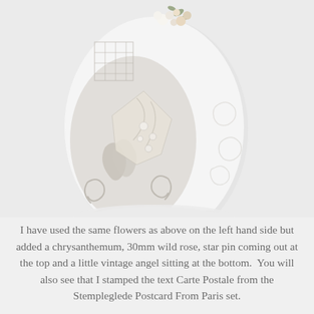[Figure (photo): A decorative ornamental egg covered in vintage white and cream lace, scrollwork embellishments, pearls, and miniature flowers including small white blossoms and roses at the top. The egg rests on a light grey background and shows intricate layered decorations including die-cut filigree patterns and floral accents.]
I have used the same flowers as above on the left hand side but added a chrysanthemum, 30mm wild rose, star pin coming out at the top and a little vintage angel sitting at the bottom.  You will also see that I stamped the text Carte Postale from the Stempleglede Postcard From Paris set.